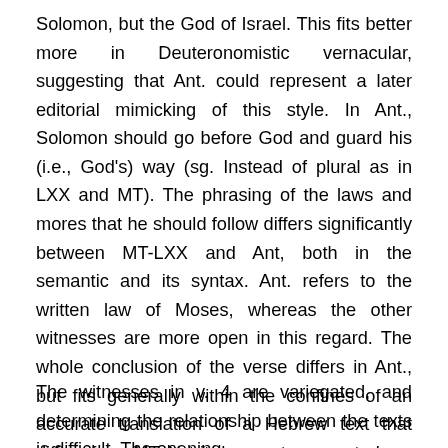Solomon, but the God of Israel. This fits better more in Deuteronomistic vernacular, suggesting that Ant. could represent a later editorial mimicking of this style. In Ant., Solomon should go before God and guard his (i.e., God's) way (sg. Instead of plural as in LXX and MT). The phrasing of the laws and mores that he should follow differs significantly between MT-LXX and Ant, both in the semantic and its syntax. Ant. refers to the written law of Moses, whereas the other witnesses are more open in this regard. The whole conclusion of the verse differs in Ant., but fits generally within the confines of an accurate translation of a Hebrew text that differs from MT. Yet it does not appear to be a revision of a Greek text like LXX.
The witnesses in v. 4 are variegated, and determining the relationship between the texts is difficult. The opening